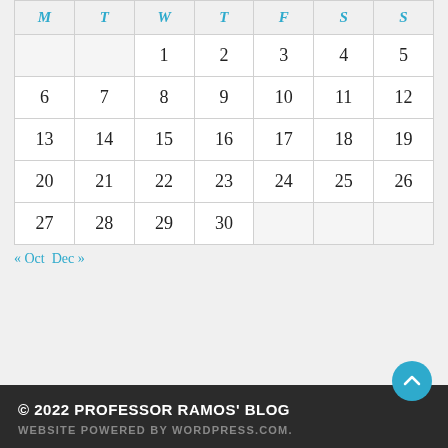| M | T | W | T | F | S | S |
| --- | --- | --- | --- | --- | --- | --- |
|  |  | 1 | 2 | 3 | 4 | 5 |
| 6 | 7 | 8 | 9 | 10 | 11 | 12 |
| 13 | 14 | 15 | 16 | 17 | 18 | 19 |
| 20 | 21 | 22 | 23 | 24 | 25 | 26 |
| 27 | 28 | 29 | 30 |  |  |  |
« Oct  Dec »
© 2022 PROFESSOR RAMOS' BLOG
WEBSITE POWERED BY WORDPRESS.COM.